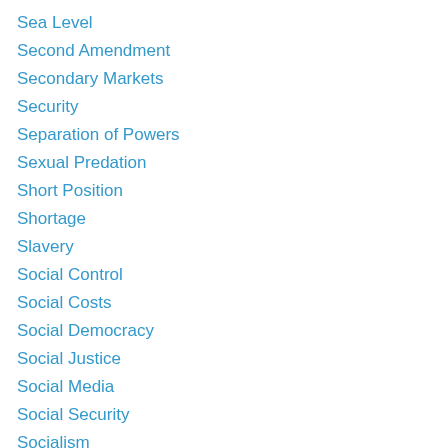Sea Level
Second Amendment
Secondary Markets
Security
Separation of Powers
Sexual Predation
Short Position
Shortage
Slavery
Social Control
Social Costs
Social Democracy
Social Justice
Social Media
Social Security
Socialism
Space Travel
Speculation
Spontaneous Order
statism